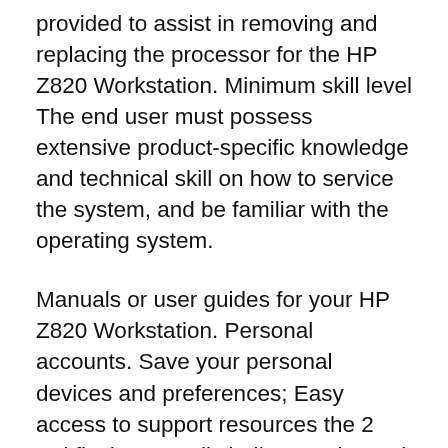provided to assist in removing and replacing the processor for the HP Z820 Workstation. Minimum skill level The end user must possess extensive product-specific knowledge and technical skill on how to service the system, and be familiar with the operating system.
Manuals or user guides for your HP Z820 Workstation. Personal accounts. Save your personal devices and preferences; Easy access to support resources the 2 red flashes usually indicate a thermal issue has forced a shutdown i would check the cpu temps using the bios monitor or a windows